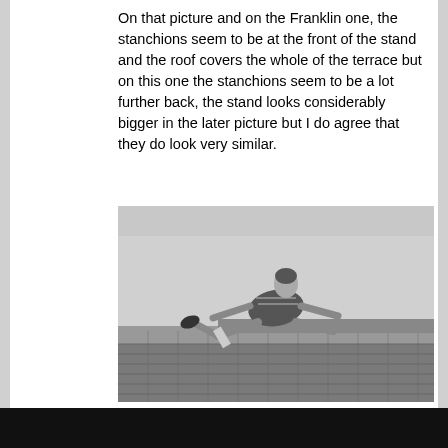On that picture and on the Franklin one, the stanchions seem to be at the front of the stand and the roof covers the whole of the terrace but on this one the stanchions seem to be a lot further back, the stand looks considerably bigger in the later picture but I do agree that they do look very similar.
[Figure (photo): Black and white photograph of a football player in mid-air performing a diving or jumping action, wearing vintage football kit with striped shirt, with a stadium stand visible in the background.]